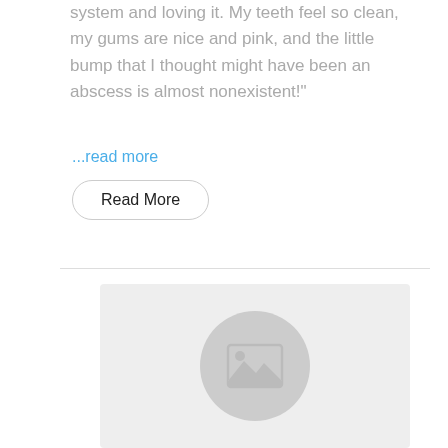system and loving it. My teeth feel so clean, my gums are nice and pink, and the little bump that I thought might have been an abscess is almost nonexistent!"
...read more
Read More
[Figure (illustration): Placeholder image with a grey circle containing a landscape/image icon (mountains and sun) on a light grey background]